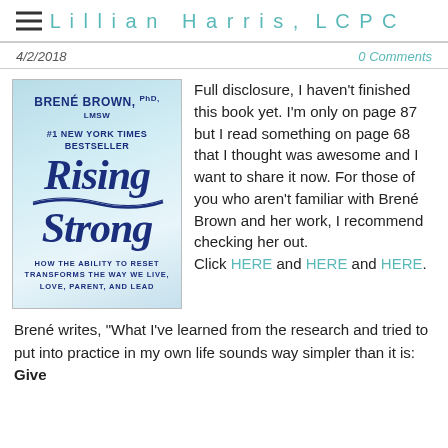Lillian Harris, LCPC
4/2/2018    0 Comments
[Figure (photo): Book cover of 'Rising Strong' by Brené Brown, PhD, LMSW, #1 New York Times Bestseller. Blue gradient background with bold dark blue lettering. Subtitle: How the ability to reset transforms the way we live, love, parent, and lead.]
Full disclosure, I haven't finished this book yet. I'm only on page 87 but I read something on page 68 that I thought was awesome and I want to share it now. For those of you who aren't familiar with Brené Brown and her work, I recommend checking her out.
Click HERE and HERE and HERE.
Brené writes, "What I've learned from the research and tried to put into practice in my own life sounds way simpler than it is: Give